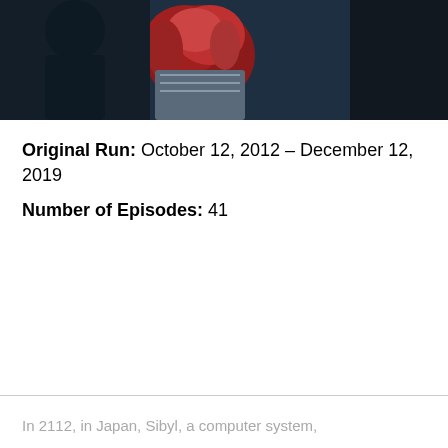[Figure (illustration): Partial view of animated characters from Psycho-Pass, showing a figure with red hair against a dark blue background with another dark-clad figure]
Original Run: October 12, 2012 – December 12, 2019
Number of Episodes: 41
In 2112, in Japan, Sibyl, a computer system,